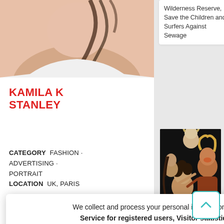Wilderness Reserve, Save the Children and Surfers Against Sewage
[Figure (photo): Partial photo of a person at top left, cropped]
KAMILA K STANLEY
CATEGORY  FASHION · ADVERTISING · PORTRAIT
LOCATION  UK, PARIS
[Figure (photo): Group of people laughing and playing together in dark background]
T WILCOX
RY  VIP · N · PORTRAIT
ON  LONDON
W ABOUT Elliott a Londo... itish
We collect and process your personal information for the following purposes: Service for registered users, Visitor statistics, Information, Styling.
DECLINE
ACCEPT
learn more ...
has won...
photographer who